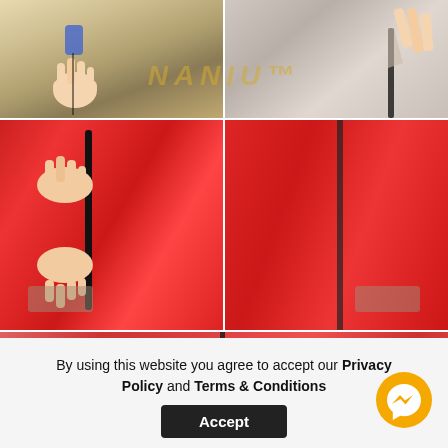[Figure (photo): Four-panel photo grid showing car door edge guard strip installation process on red car, with NANIU brand watermark. Top two panels show hands applying/peeling strip material. Middle two panels show hands pressing black strip onto red car door edge and finished result. Bottom wide panel shows red car door handle area with door seam.]
By using this website you agree to accept our Privacy Policy and Terms & Conditions
Accept